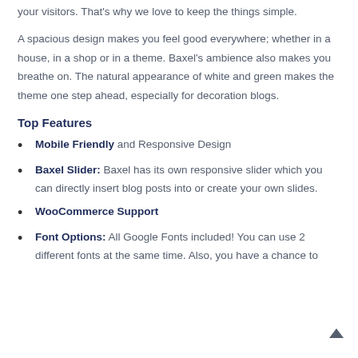your visitors. That's why we love to keep the things simple.
A spacious design makes you feel good everywhere; whether in a house, in a shop or in a theme. Baxel's ambience also makes you breathe on. The natural appearance of white and green makes the theme one step ahead, especially for decoration blogs.
Top Features
Mobile Friendly and Responsive Design
Baxel Slider: Baxel has its own responsive slider which you can directly insert blog posts into or create your own slides.
WooCommerce Support
Font Options: All Google Fonts included! You can use 2 different fonts at the same time. Also, you have a chance to